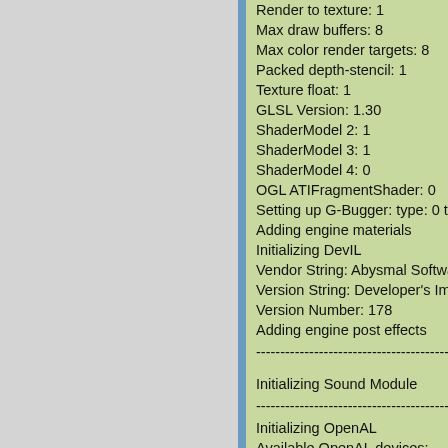Render to texture: 1
Max draw buffers: 8
Max color render targets: 8
Packed depth-stencil: 1
Texture float: 1
GLSL Version: 1.30
ShaderModel 2: 1
ShaderModel 3: 1
ShaderModel 4: 0
OGL ATIFragmentShader: 0
Setting up G-Bugger: type: 0 text
Adding engine materials
Initializing DevIL
Vendor String: Abysmal Software
Version String: Developer's Image
Version Number: 178
Adding engine post effects
----------------------------------------
Initializing Sound Module
----------------------------------------
Initializing OpenAL
Available OpenAL devices:
0. PulseAudio Default(OpenAL de
1. Cymme HDMI Audio [Rode...